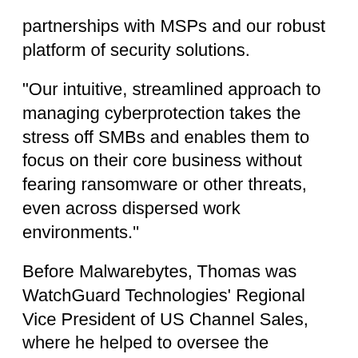partnerships with MSPs and our robust platform of security solutions.
"Our intuitive, streamlined approach to managing cyberprotection takes the stress off SMBs and enables them to focus on their core business without fearing ransomware or other threats, even across dispersed work environments."
Before Malwarebytes, Thomas was WatchGuard Technologies' Regional Vice President of US Channel Sales, where he helped to oversee the integration of WatchGuard Technologies and Panda Security's solution portfolio following Panda Security's recent acquisition.
Prior to that, Thomas served as Arista Networks' Director of Worldwide Channel Sales.
Okta